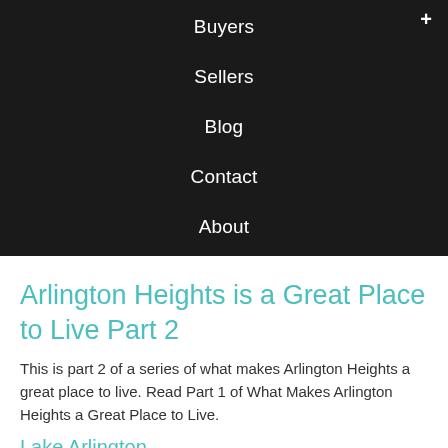Buyers
Sellers
Blog
Contact
About
Arlington Heights is a Great Place to Live Part 2
This is part 2 of a series of what makes Arlington Heights a great place to live. Read Part 1 of What Makes Arlington Heights a Great Place to Live.
Lake Arlington
[Figure (photo): Photo of a bird (likely a seagull or heron) at Lake Arlington in Arlington Heights, with water visible in the background.]
Lake Arlington in Arlington Heights provides the perfect opportunity to get some fresh air and enjoy the great